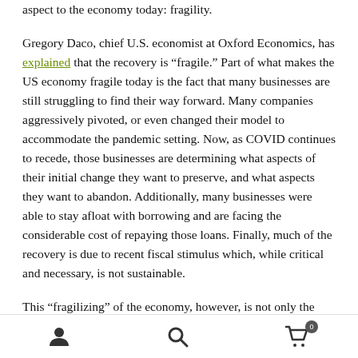aspect to the economy today: fragility.
Gregory Daco, chief U.S. economist at Oxford Economics, has explained that the recovery is “fragile.” Part of what makes the US economy fragile today is the fact that many businesses are still struggling to find their way forward. Many companies aggressively pivoted, or even changed their model to accommodate the pandemic setting. Now, as COVID continues to recede, those businesses are determining what aspects of their initial change they want to preserve, and what aspects they want to abandon. Additionally, many businesses were able to stay afloat with borrowing and are facing the considerable cost of repaying those loans. Finally, much of the recovery is due to recent fiscal stimulus which, while critical and necessary, is not sustainable.
This “fragilizing” of the economy, however, is not only the result of the pandemic. These effects have been taking hold for some